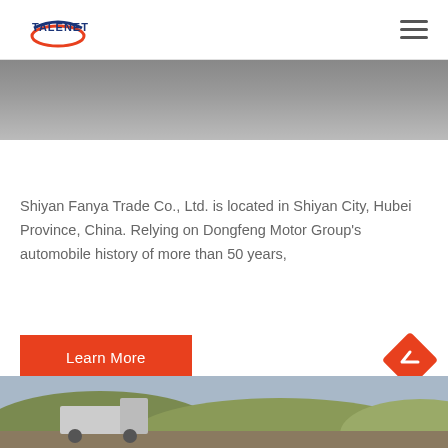TALENET [logo] [hamburger menu]
[Figure (photo): Top cropped photo strip showing a road or highway scene, partially visible]
Shiyan Fanya Trade Co., Ltd. is located in Shiyan City, Hubei Province, China. Relying on Dongfeng Motor Group's automobile history of more than 50 years,
Learn More
[Figure (photo): Bottom partial photo showing a truck on a mountainous/desert road with hills in background]